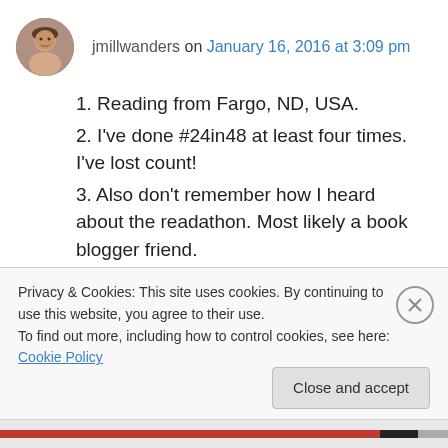jmillwanders on January 16, 2016 at 3:09 pm
1. Reading from Fargo, ND, USA.
2. I've done #24in48 at least four times. I've lost count!
3. Also don't remember how I heard about the readathon. Most likely a book blogger friend.
4. I'm most excited to read Gloria Steinem's My Life on the Road.
5. I love to travel! I'm going to London for the third time in November to see the Harry Potter
Privacy & Cookies: This site uses cookies. By continuing to use this website, you agree to their use.
To find out more, including how to control cookies, see here: Cookie Policy